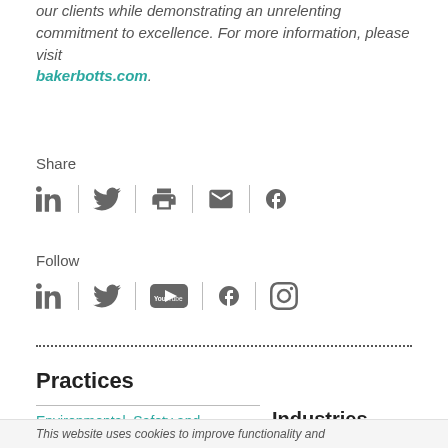our clients while demonstrating an unrelenting commitment to excellence. For more information, please visit bakerbotts.com.
Share
[Figure (other): Social share icons: LinkedIn, Twitter, Print, Email, Facebook]
Follow
[Figure (other): Social follow icons: LinkedIn, Twitter, YouTube, Facebook, Instagram]
Practices
Environmental, Safety and
Industries
This website uses cookies to improve functionality and